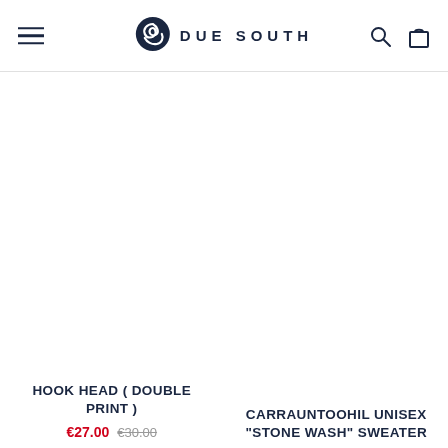DUE SOUTH
[Figure (logo): Due South wave logo — dark navy circular wave/swirl icon]
HOOK HEAD ( DOUBLE PRINT )
€27.00  €30.00
CARRAUNTOOHIL UNISEX "STONE WASH" SWEATER